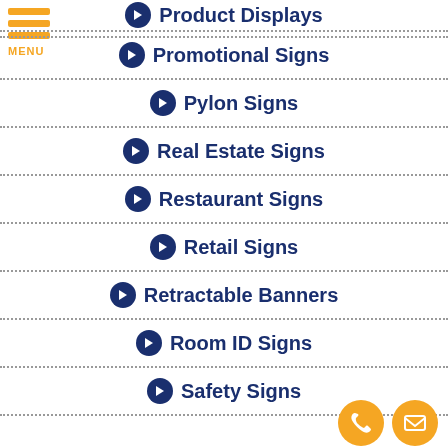Product Displays
Promotional Signs
Pylon Signs
Real Estate Signs
Restaurant Signs
Retail Signs
Retractable Banners
Room ID Signs
Safety Signs